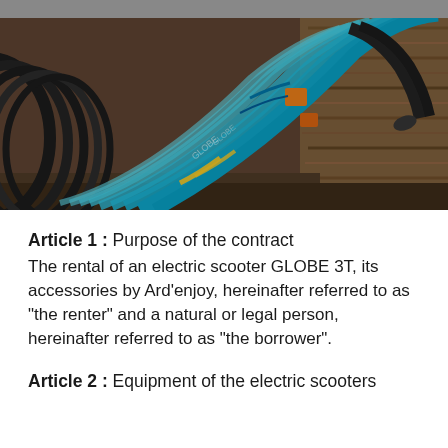[Figure (photo): Row of blue electric scooters (GLOBE 3T) leaning together, photographed outdoors with wood/ground in background. Dark gray header bar at top.]
Article 1 : Purpose of the contract
The rental of an electric scooter GLOBE 3T, its accessories by Ard'enjoy, hereinafter referred to as "the renter" and a natural or legal person, hereinafter referred to as "the borrower".
Article 2 : Equipment of the electric scooters